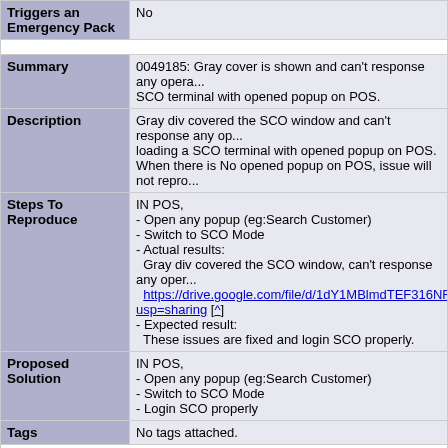| Field | Value |
| --- | --- |
| Triggers an Emergency Pack | No |
| Summary | 0049185: Gray cover is shown and can't response any opera... SCO terminal with opened popup on POS. |
| Description | Gray div covered the SCO window and can't response any op... loading a SCO terminal with opened popup on POS. When there is No opened popup on POS, issue will not repro... |
| Steps To Reproduce | IN POS,
- Open any popup (eg:Search Customer)
- Switch to SCO Mode
- Actual results:
  Gray div covered the SCO window, can't response any oper...
  https://drive.google.com/file/d/1dY1MBlmdTEF316NRIkK8W... usp=sharing [^]
- Expected result:
  These issues are fixed and login SCO properly. |
| Proposed Solution | IN POS,
- Open any popup (eg:Search Customer)
- Switch to SCO Mode
- Login SCO properly |
| Tags | No tags attached. |
| Attached Files | Screen Recording .mov [^] (2,573,111 bytes) 2022-05-03
Ticket_23239_Gray-Div_patch.diff [^] (871 bytes) 2022-05
Content] |